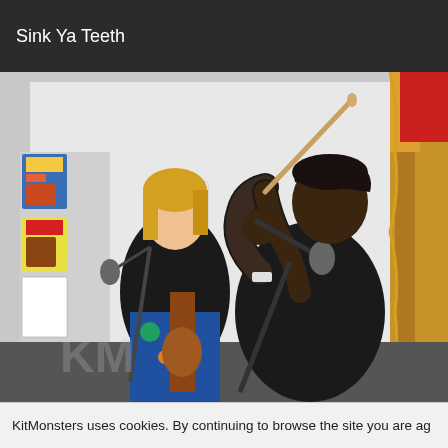Sink Ya Teeth
[Figure (photo): Two women performing music indoors. In the foreground, a Black woman with short hair holds a drumstick up in one hand and a microphone in the other, singing. She wears a black t-shirt and a watch. Behind her, a white woman with blonde hair plays guitar and sings into a microphone. The background shows a white wall with posters and colorful curtains on the right.]
KitMonsters uses cookies. By continuing to browse the site you are ag